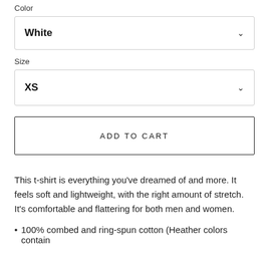Color
White
Size
XS
ADD TO CART
This t-shirt is everything you've dreamed of and more. It feels soft and lightweight, with the right amount of stretch. It's comfortable and flattering for both men and women.
100% combed and ring-spun cotton (Heather colors contain